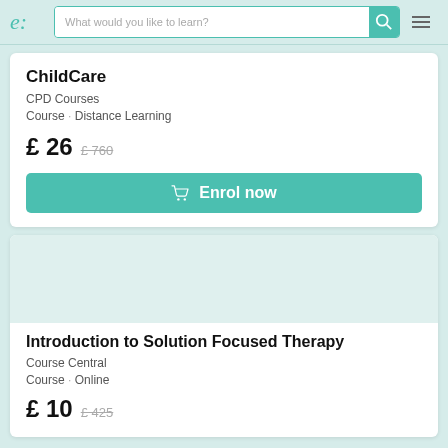e: | What would you like to learn?
ChildCare
CPD Courses
Course · Distance Learning
£ 26  £ 760
Enrol now
Introduction to Solution Focused Therapy
Course Central
Course · Online
£ 10  £ 425